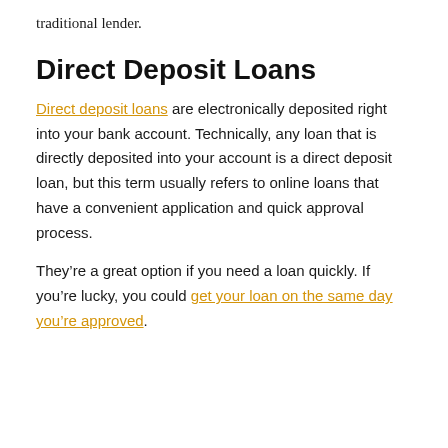traditional lender.
Direct Deposit Loans
Direct deposit loans are electronically deposited right into your bank account. Technically, any loan that is directly deposited into your account is a direct deposit loan, but this term usually refers to online loans that have a convenient application and quick approval process.
They’re a great option if you need a loan quickly. If you’re lucky, you could get your loan on the same day you’re approved.